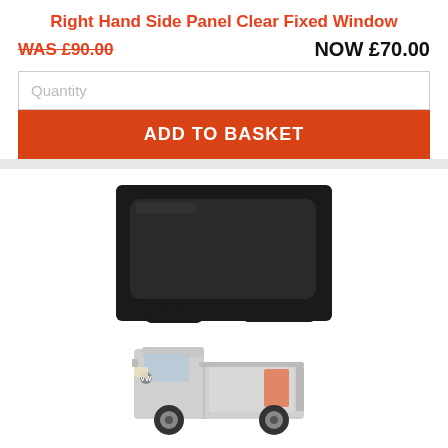Right Hand Side Panel Clear Fixed Window
WAS £90.00   NOW £70.00
Quantity
ADD TO BASKET
[Figure (photo): Close-up image of a black-framed rectangular fixed window panel for a van]
[Figure (photo): Silver van with orange highlight on the right hand side panel where the window is located]
PART: VOY1476#1
Right Hand Side Panel Clear Fixed Window